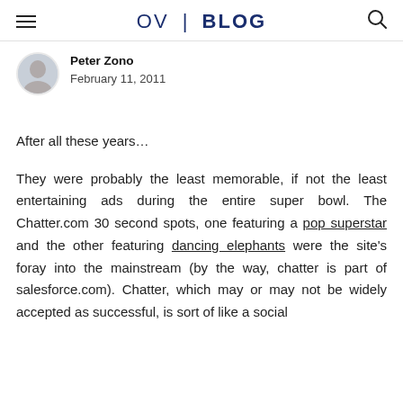OV | BLOG
Peter Zono
February 11, 2011
After all these years…
They were probably the least memorable, if not the least entertaining ads during the entire super bowl. The Chatter.com 30 second spots, one featuring a pop superstar and the other featuring dancing elephants were the site's foray into the mainstream (by the way, chatter is part of salesforce.com). Chatter, which may or may not be widely accepted as successful, is sort of like a social